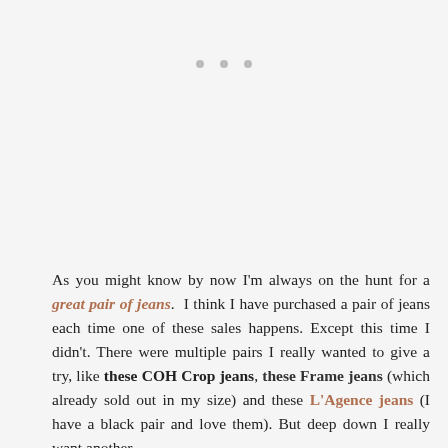[Figure (other): Three small grey dots arranged horizontally, likely a loading indicator or decorative separator]
As you might know by now I'm always on the hunt for a great pair of jeans. I think I have purchased a pair of jeans each time one of these sales happens. Except this time I didn't. There were multiple pairs I really wanted to give a try, like these COH Crop jeans, these Frame jeans (which already sold out in my size) and these L'Agence jeans (I have a black pair and love them). But deep down I really want another